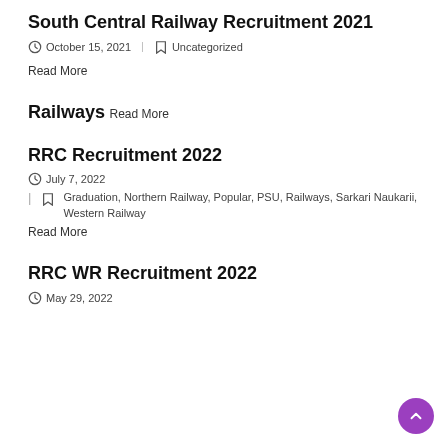South Central Railway Recruitment 2021
October 15, 2021 | Uncategorized
Read More
Railways
Read More
RRC Recruitment 2022
July 7, 2022
Graduation, Northern Railway, Popular, PSU, Railways, Sarkari Naukarii, Western Railway
Read More
RRC WR Recruitment 2022
May 29, 2022